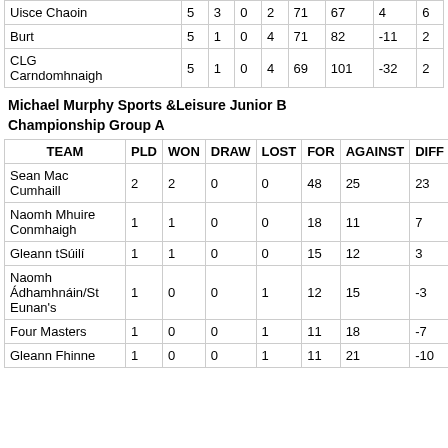| TEAM | PLD | WON | DRAW | LOST | FOR | AGAINST | DIFF | POINTS |
| --- | --- | --- | --- | --- | --- | --- | --- | --- |
| Uisce Chaoin | 5 | 3 | 0 | 2 | 71 | 67 | 4 | 6 |
| Burt | 5 | 1 | 0 | 4 | 71 | 82 | -11 | 2 |
| CLG Carndomhnaigh | 5 | 1 | 0 | 4 | 69 | 101 | -32 | 2 |
Michael Murphy Sports &Leisure Junior B Championship Group A
| TEAM | PLD | WON | DRAW | LOST | FOR | AGAINST | DIFF | POINTS |
| --- | --- | --- | --- | --- | --- | --- | --- | --- |
| Sean Mac Cumhaill | 2 | 2 | 0 | 0 | 48 | 25 | 23 | 4 |
| Naomh Mhuire Conmhaigh | 1 | 1 | 0 | 0 | 18 | 11 | 7 | 2 |
| Gleann tSúilí | 1 | 1 | 0 | 0 | 15 | 12 | 3 | 2 |
| Naomh Ádhamhnáin/St Eunan's | 1 | 0 | 0 | 1 | 12 | 15 | -3 | 0 |
| Four Masters | 1 | 0 | 0 | 1 | 11 | 18 | -7 | 0 |
| Gleann Fhinne | 1 | 0 | 0 | 1 | 11 | 21 | -10 | 0 |